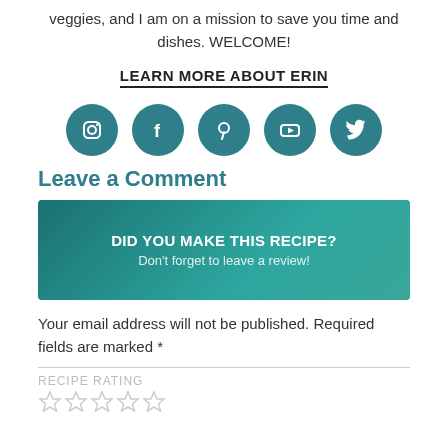veggies, and I am on a mission to save you time and dishes. WELCOME!
LEARN MORE ABOUT ERIN
[Figure (infographic): Five teal circular social media icons: Instagram, Facebook, Pinterest, YouTube, Twitter]
Leave a Comment
[Figure (infographic): Teal banner with text: DID YOU MAKE THIS RECIPE? Don't forget to leave a review!]
Your email address will not be published. Required fields are marked *
RECIPE RATING